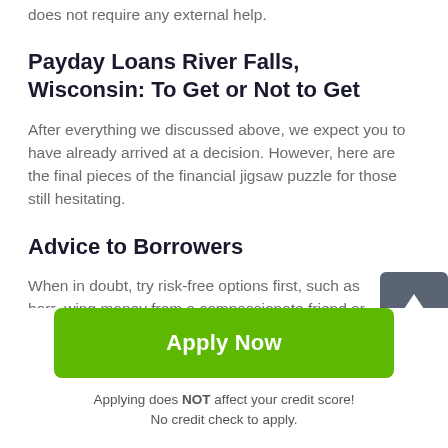hope that your online loan experience goes smoothly and does not require any external help.
Payday Loans River Falls, Wisconsin: To Get or Not to Get
After everything we discussed above, we expect you to have already arrived at a decision. However, here are the final pieces of the financial jigsaw puzzle for those still hesitating.
Advice to Borrowers
When in doubt, try risk-free options first, such as borrowing money from a compassionate friend or relative. Personal
[Figure (other): Scroll-to-top button: dark grey square with upward arrow icon]
Apply Now
Applying does NOT affect your credit score!
No credit check to apply.